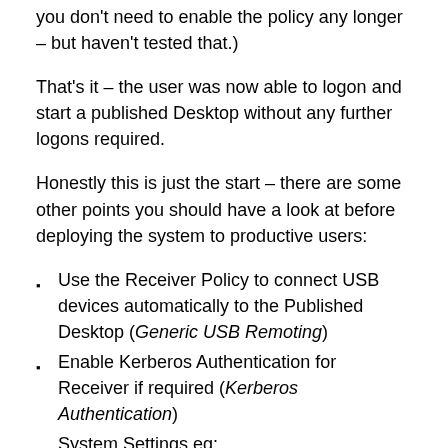you don't need to enable the policy any longer – but haven't tested that.)
That's it – the user was now able to logon and start a published Desktop without any further logons required.
Honestly this is just the start – there are some other points you should have a look at before deploying the system to productive users:
Use the Receiver Policy to connect USB devices automatically to the Published Desktop (Generic USB Remoting)
Enable Kerberos Authentication for Receiver if required (Kerberos Authentication)
System Settings eg:
Anti-Virus